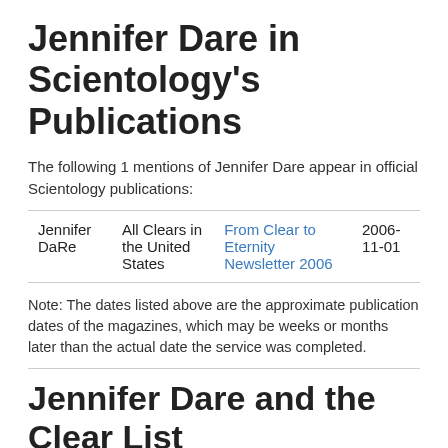Jennifer Dare in Scientology's Publications
The following 1 mentions of Jennifer Dare appear in official Scientology publications:
| Jennifer DaRe | All Clears in the United States | From Clear to Eternity Newsletter 2006 | 2006-11-01 |
Note: The dates listed above are the approximate publication dates of the magazines, which may be weeks or months later than the actual date the service was completed.
Jennifer Dare and the Clear List
No entries were found in my Scientology Statistics Project Clear List database for this person.